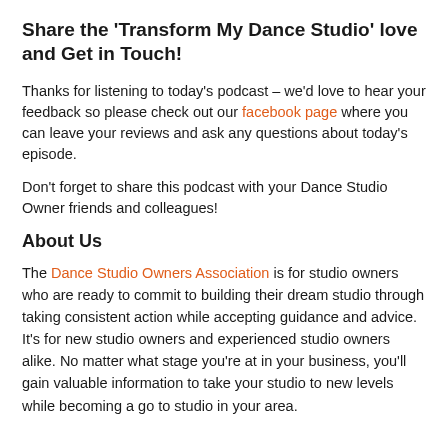Share the 'Transform My Dance Studio' love and Get in Touch!
Thanks for listening to today's podcast – we'd love to hear your feedback so please check out our facebook page where you can leave your reviews and ask any questions about today's episode.
Don't forget to share this podcast with your Dance Studio Owner friends and colleagues!
About Us
The Dance Studio Owners Association is for studio owners who are ready to commit to building their dream studio through taking consistent action while accepting guidance and advice. It's for new studio owners and experienced studio owners alike. No matter what stage you're at in your business, you'll gain valuable information to take your studio to new levels while becoming a go to studio in your area.